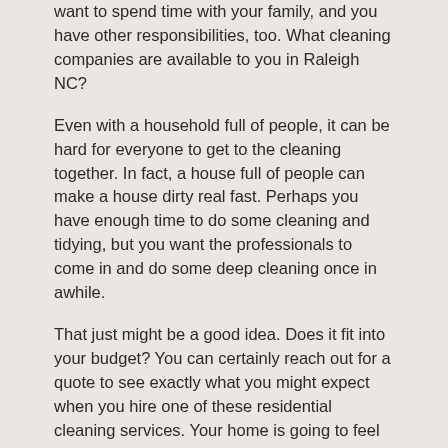want to spend time with your family, and you have other responsibilities, too. What cleaning companies are available to you in Raleigh NC?
Even with a household full of people, it can be hard for everyone to get to the cleaning together. In fact, a house full of people can make a house dirty real fast. Perhaps you have enough time to do some cleaning and tidying, but you want the professionals to come in and do some deep cleaning once in awhile.
That just might be a good idea. Does it fit into your budget? You can certainly reach out for a quote to see exactly what you might expect when you hire one of these residential cleaning services. Your home is going to feel much cleaner if you have the professionals do the work. It's not like you're not going to be doing some cleaning, too.